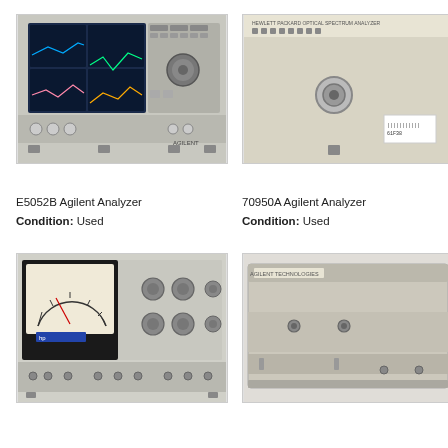[Figure (photo): E5052B Agilent network analyzer instrument with color display showing measurement traces and front panel controls]
[Figure (photo): 70950A Agilent analyzer module, beige/white box with a BNC connector and barcode label]
E5052B Agilent Analyzer
Condition: Used
70950A Agilent Analyzer
Condition: Used
[Figure (photo): Vintage HP analog meter instrument with large analog dial, black panel, and multiple rotary knobs]
[Figure (photo): Beige rack-mount instrument chassis, rectangular box with front panel connectors]